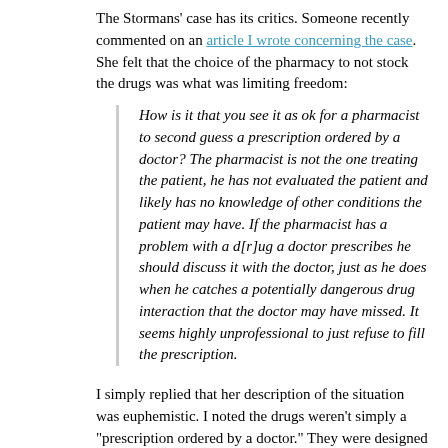The Stormans' case has its critics. Someone recently commented on an article I wrote concerning the case. She felt that the choice of the pharmacy to not stock the drugs was what was limiting freedom:
How is it that you see it as ok for a pharmacist to second guess a prescription ordered by a doctor? The pharmacist is not the one treating the patient, he has not evaluated the patient and likely has no knowledge of other conditions the patient may have. If the pharmacist has a problem with a d[r]ug a doctor prescribes he should discuss it with the doctor, just as he does when he catches a potentially dangerous drug interaction that the doctor may have missed. It seems highly unprofessional to just refuse to fill the prescription.
I simply replied that her description of the situation was euphemistic. I noted the drugs weren't simply a "prescription ordered by a doctor." They were designed for a very specific purpose: to cause an abortion. I also noted that a prescription is not sacrosanct. I would have a problem selling drugs designed for the purpose of euthanasia, which is also wrong. She